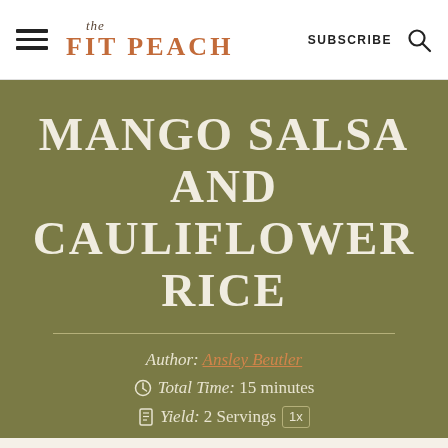the FIT PEACH | SUBSCRIBE
MANGO SALSA AND CAULIFLOWER RICE
Author: Ansley Beutler
Total Time: 15 minutes
Yield: 2 Servings 1x